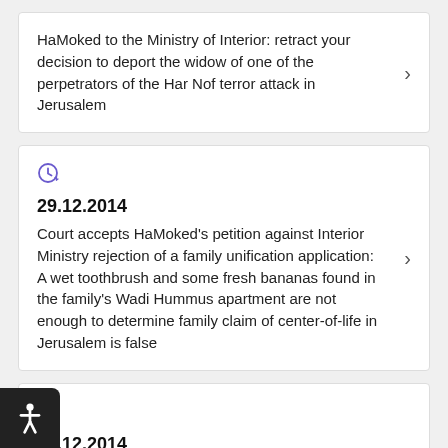HaMoked to the Ministry of Interior: retract your decision to deport the widow of one of the perpetrators of the Har Nof terror attack in Jerusalem
29.12.2014
Court accepts HaMoked's petition against Interior Ministry rejection of a family unification application: A wet toothbrush and some fresh bananas found in the family's Wadi Hummus apartment are not enough to determine family claim of center-of-life in Jerusalem is false
15.12.2014
Following HaMoked's petition: Israel will not...